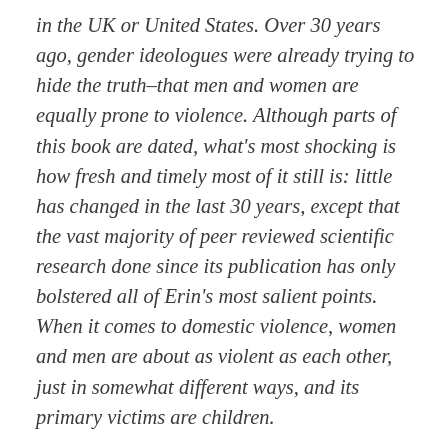in the UK or United States. Over 30 years ago, gender ideologues were already trying to hide the truth–that men and women are equally prone to violence. Although parts of this book are dated, what's most shocking is how fresh and timely most of it still is: little has changed in the last 30 years, except that the vast majority of peer reviewed scientific research done since its publication has only bolstered all of Erin's most salient points. When it comes to domestic violence, women and men are about as violent as each other, just in somewhat different ways, and its primary victims are children.